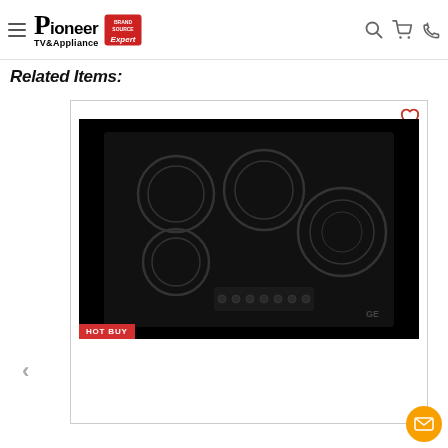Pioneer TV&Appliance | Brand Source Expert
Related Items:
[Figure (photo): Black electric ceramic cooktop with 5 burners and touch controls, labeled HOT BUY]
HOT BUY